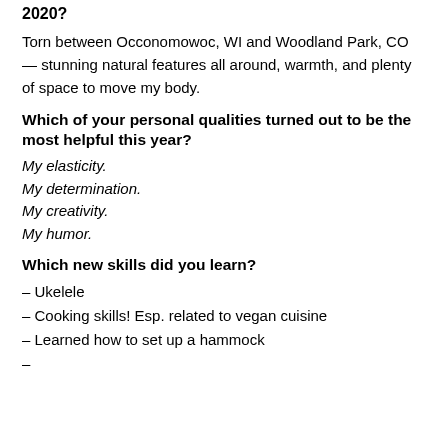2020?
Torn between Occonomowoc, WI and Woodland Park, CO — stunning natural features all around, warmth, and plenty of space to move my body.
Which of your personal qualities turned out to be the most helpful this year?
My elasticity.
My determination.
My creativity.
My humor.
Which new skills did you learn?
– Ukelele
– Cooking skills! Esp. related to vegan cuisine
– Learned how to set up a hammock
–